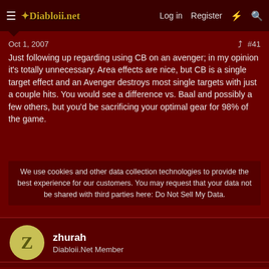≡ Diabloii.net  Log in  Register  ⚡  🔍
Oct 1, 2007  #41
Just following up regarding using CB on an avenger; in my opinion it's totally unnecessary. Area effects are nice, but CB is a single target effect and an Avenger destroys most single targets with just a couple hits. You would see a difference vs. Baal and possibly a few others, but you'd be sacrificing your optimal gear for 98% of the game.
We use cookies and other data collection technologies to provide the best experience for our customers. You may request that your data not be shared with third parties here: Do Not Sell My Data.
zhurah
Diabloii.Net Member
Oct 2, 2007  #42
If you mentioned Baranar's Star, i think The Atlantean which you